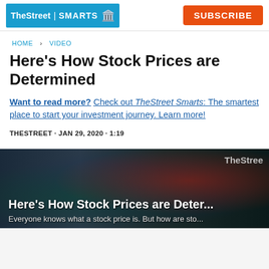[Figure (logo): TheStreet SMARTS logo with blue background and Subscribe button]
HOME > VIDEO
Here's How Stock Prices are Determined
Want to read more? Check out TheStreet Smarts: The smartest place to start your investment journey. Learn more!
THESTREET · JAN 29, 2020 · 1:19
[Figure (screenshot): Video thumbnail showing stock market imagery with title 'Here's How Stock Prices are Deter...' and subtitle 'Everyone knows what a stock price is. But how are sto...']